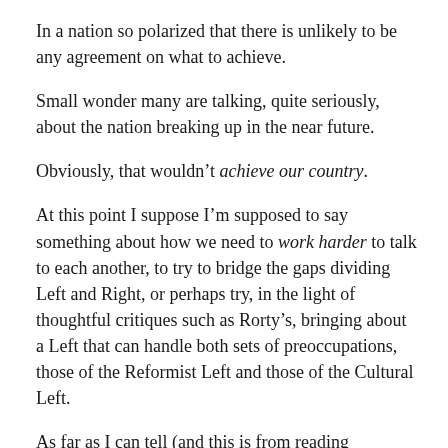In a nation so polarized that there is unlikely to be any agreement on what to achieve.
Small wonder many are talking, quite seriously, about the nation breaking up in the near future.
Obviously, that wouldn't achieve our country.
At this point I suppose I'm supposed to say something about how we need to work harder to talk to each another, to try to bridge the gaps dividing Left and Right, or perhaps try, in the light of thoughtful critiques such as Rorty's, bringing about a Left that can handle both sets of preoccupations, those of the Reformist Left and those of the Cultural Left.
As far as I can tell (and this is from reading countless tracts), the Cultural Left's view is: our way or the